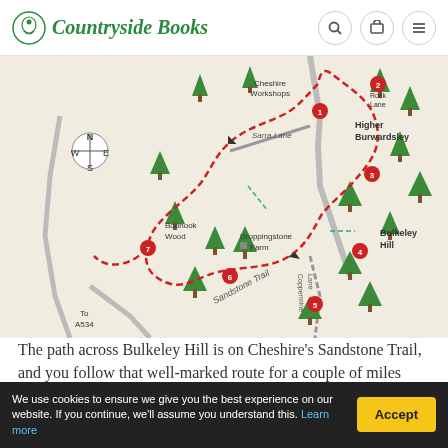Countryside Books
[Figure (map): Walking route map showing Bulkeley Hill, Bodnook Wood, Droppingstone Farm, Higher Burwardsley, Sandstone Trail, Coppermine Lane, Sarra Lane, and Rock Lane. Red dashed route line with numbered waypoints 1-7. Compass rose showing N/W/E/S. Green tree symbols throughout. Route labeled 'To A534' at bottom left.]
The path across Bulkeley Hill is on Cheshire's Sandstone Trail, and you follow that well-marked route for a couple of miles before branching off into a very different wood. The path through Bodnook Wood is flanked by veteran beech trees, so should the season be right – a little later
We use cookies to ensure we give you the best experience on our website. If you continue, we'll assume you understand this. Learn more